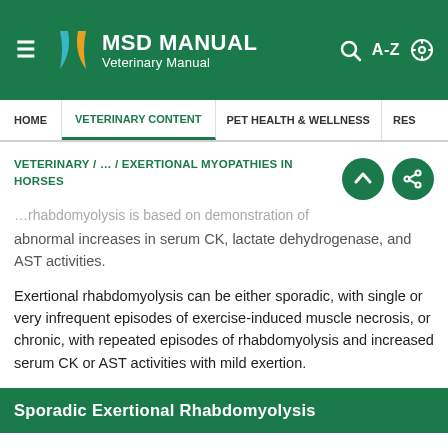MSD MANUAL Veterinary Manual
…and …rhabdomyolysis is based on demonstration of abnormal increases in serum CK, lactate dehydrogenase, and AST activities.
Exertional rhabdomyolysis can be either sporadic, with single or very infrequent episodes of exercise-induced muscle necrosis, or chronic, with repeated episodes of rhabdomyolysis and increased serum CK or AST activities with mild exertion.
Sporadic Exertional Rhabdomyolysis
All breeds of horses are susceptible to sporadic exertional